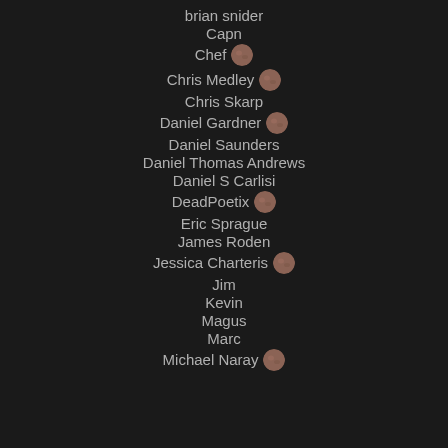brian snider
Capn
Chef 🪙
Chris Medley 🪙
Chris Skarp
Daniel Gardner 🪙
Daniel Saunders
Daniel Thomas Andrews
Daniel S Carlisi
DeadPoetix 🪙
Eric Sprague
James Roden
Jessica Charteris 🪙
Jim
Kevin
Magus
Marc
Michael Naray 🪙